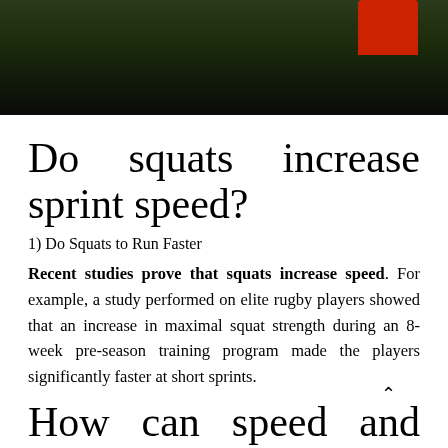[Figure (photo): Photo of a rugby player on grass field, dark background with red element in upper right]
Do squats increase sprint speed?
1) Do Squats to Run Faster
Recent studies prove that squats increase speed. For example, a study performed on elite rugby players showed that an increase in maximal squat strength during an 8-week pre-season training program made the players significantly faster at short sprints.
How can speed and explosiveness be improved?